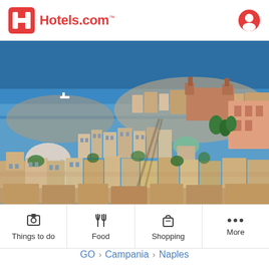[Figure (logo): Hotels.com logo with red H icon and red text, and user profile icon on the right]
[Figure (photo): Aerial panoramic view of Naples, Italy showing densely packed buildings with terracotta rooftops, a large dome church, green bay water in the background]
Things to do
Food
Shopping
More
GO › Campania › Naples